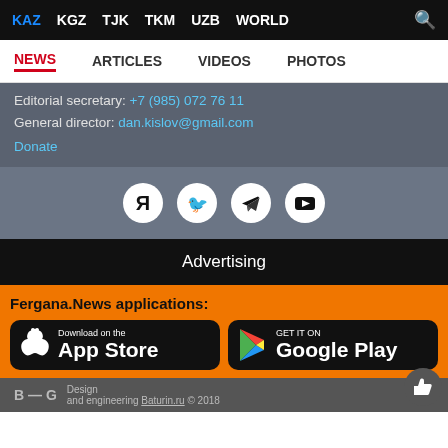KAZ  KGZ  TJK  TKM  UZB  WORLD
NEWS  ARTICLES  VIDEOS  PHOTOS
Editorial secretary: +7 (985) 072 76 11
General director: dan.kislov@gmail.com
Donate
[Figure (infographic): Social media icons: Yandex, Twitter, Telegram, YouTube]
Advertising
Fergana.News applications:
[Figure (logo): Download on the App Store button]
[Figure (logo): Get it on Google Play button]
B—G  Design and engineering Baturin.ru © 2018